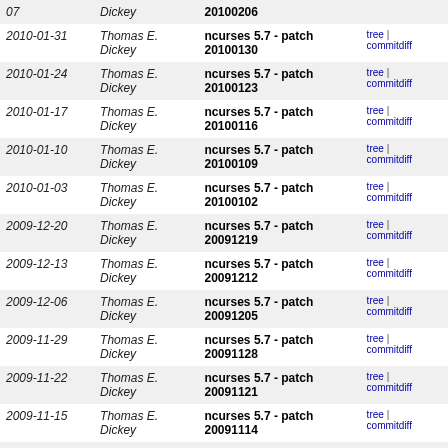| Date | Author | Subject | Links |
| --- | --- | --- | --- |
| 07 | Thomas E. Dickey | ncurses 5.7 - patch 20100206 | tree | commitdiff |
| 2010-01-31 | Thomas E. Dickey | ncurses 5.7 - patch 20100130 | tree | commitdiff |
| 2010-01-24 | Thomas E. Dickey | ncurses 5.7 - patch 20100123 | tree | commitdiff |
| 2010-01-17 | Thomas E. Dickey | ncurses 5.7 - patch 20100116 | tree | commitdiff |
| 2010-01-10 | Thomas E. Dickey | ncurses 5.7 - patch 20100109 | tree | commitdiff |
| 2010-01-03 | Thomas E. Dickey | ncurses 5.7 - patch 20100102 | tree | commitdiff |
| 2009-12-20 | Thomas E. Dickey | ncurses 5.7 - patch 20091219 | tree | commitdiff |
| 2009-12-13 | Thomas E. Dickey | ncurses 5.7 - patch 20091212 | tree | commitdiff |
| 2009-12-06 | Thomas E. Dickey | ncurses 5.7 - patch 20091205 | tree | commitdiff |
| 2009-11-29 | Thomas E. Dickey | ncurses 5.7 - patch 20091128 | tree | commitdiff |
| 2009-11-22 | Thomas E. Dickey | ncurses 5.7 - patch 20091121 | tree | commitdiff |
| 2009-11-15 | Thomas E. Dickey | ncurses 5.7 - patch 20091114 | tree | commitdiff |
| 2009-11-08 | Thomas E. Dickey | ncurses 5.7 - patch 20091107 | tree | commitdiff |
| 2009-11-01 | Thomas E. Dickey | ncurses 5.7 - patch 20091031 | tree | commitdiff |